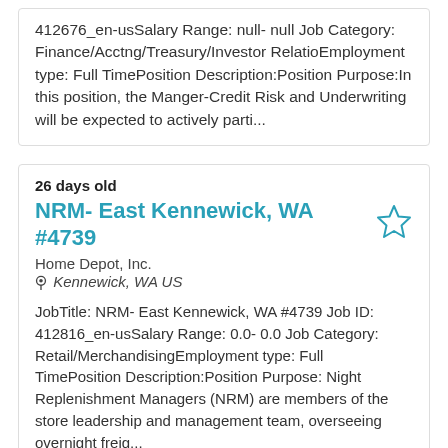412676_en-usSalary Range: null- null Job Category: Finance/Acctng/Treasury/Investor RelatioEmployment type: Full TimePosition Description:Position Purpose:In this position, the Manger-Credit Risk and Underwriting will be expected to actively parti...
26 days old
NRM- East Kennewick, WA #4739
Home Depot, Inc.
Kennewick, WA US
JobTitle: NRM- East Kennewick, WA #4739 Job ID: 412816_en-usSalary Range: 0.0- 0.0 Job Category: Retail/MerchandisingEmployment type: Full TimePosition Description:Position Purpose: Night Replenishment Managers (NRM) are members of the store leadership and management team, overseeing overnight freig...
26 days old